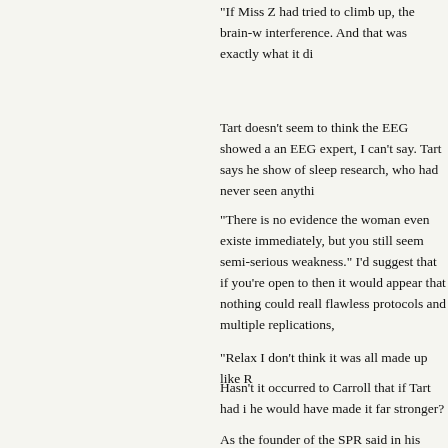"If Miss Z had tried to climb up, the brain-w interference. And that was exactly what it di
Tart doesn't seem to think the EEG showed a an EEG expert, I can't say. Tart says he show of sleep research, who had never seen anythi
"There is no evidence the woman even existe immediately, but you still seem semi-serious weakness." I'd suggest that if you're open to then it would appear that nothing could reall flawless protocols and multiple replications,
"Relax I don't think it was all made up like R
Hasn't it occurred to Carroll that if Tart had i he would have made it far stronger?
As the founder of the SPR said in his inaugu we can when the critic has nothing left to all trick. But when he has nothing else left he w
BTW, I'd be interested to know why Miss Z that she did not stand to gain publicity, mone could say she was a pathological liar.